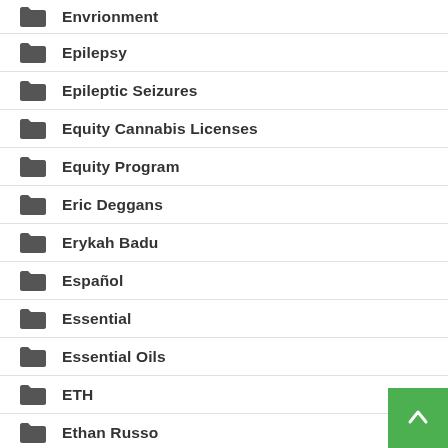Envrionment
Epilepsy
Epileptic Seizures
Equity Cannabis Licenses
Equity Program
Eric Deggans
Erykah Badu
Español
Essential
Essential Oils
ETH
Ethan Russo
Ethereum